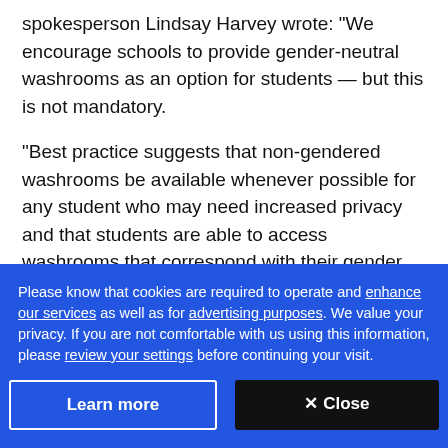spokesperson Lindsay Harvey wrote: "We encourage schools to provide gender-neutral washrooms as an option for students — but this is not mandatory.
"Best practice suggests that non-gendered washrooms be available whenever possible for any student who may need increased privacy and that students are able to access washrooms that correspond with their gender identity."
Please know that cookies are required to operate and enhance our services as well as for advertising purposes. We value your privacy. If you are not comfortable with us using this information, please review your settings before continuing your visit.